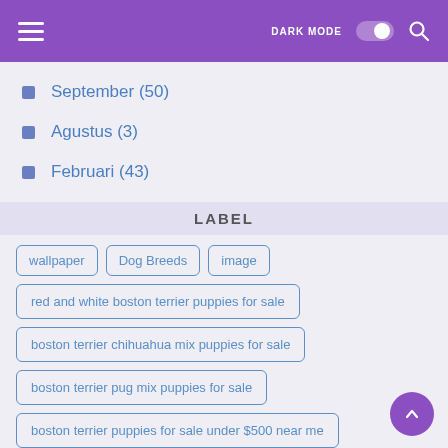Menu | DARK MODE | Search
September (50)
Agustus (3)
Februari (43)
LABEL
wallpaper
Dog Breeds
image
red and white boston terrier puppies for sale
boston terrier chihuahua mix puppies for sale
boston terrier pug mix puppies for sale
boston terrier puppies for sale under $500 near me
boston rat terrier mix puppies for sale